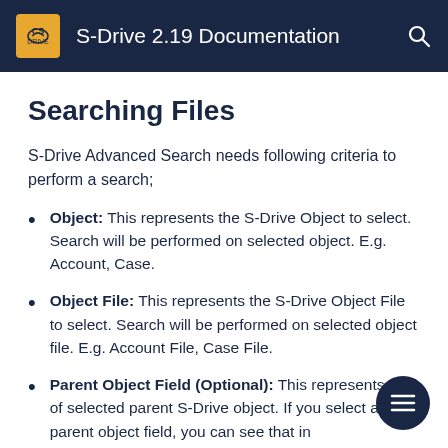S-Drive 2.19 Documentation
Searching Files
S-Drive Advanced Search needs following criteria to perform a search;
Object: This represents the S-Drive Object to select. Search will be performed on selected object. E.g. Account, Case.
Object File: This represents the S-Drive Object File to select. Search will be performed on selected object file. E.g. Account File, Case File.
Parent Object Field (Optional): This represents field of selected parent S-Drive object. If you select a parent object field, you can see that in